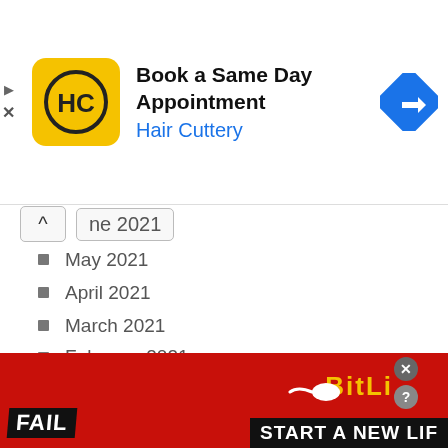[Figure (screenshot): Hair Cuttery advertisement banner: yellow square logo with HC letters, text 'Book a Same Day Appointment' and 'Hair Cuttery' in blue, blue diamond arrow icon on right. Small play and X icons on left edge.]
June 2021 (partially visible, collapsed)
May 2021
April 2021
March 2021
February 2021
January 2021
December 2020
November 2020
October 2020
September 2020
August 2020
[Figure (screenshot): BitLife advertisement banner with red background, cartoon character facepalming, fire imagery, FAIL text, and 'START A NEW LIF' (truncated). Close and help buttons top right.]